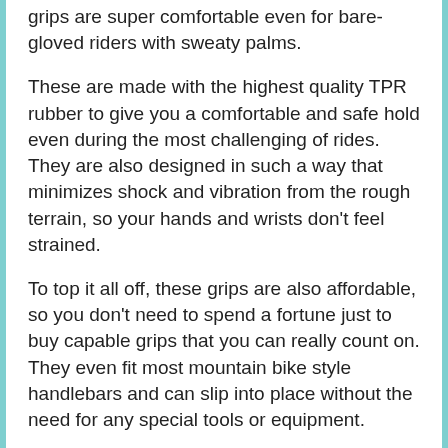grips are super comfortable even for bare-gloved riders with sweaty palms.
These are made with the highest quality TPR rubber to give you a comfortable and safe hold even during the most challenging of rides. They are also designed in such a way that minimizes shock and vibration from the rough terrain, so your hands and wrists don't feel strained.
To top it all off, these grips are also affordable, so you don't need to spend a fortune just to buy capable grips that you can really count on. They even fit most mountain bike style handlebars and can slip into place without the need for any special tools or equipment.
Simple design but highly effective
With shock and vibration reduction